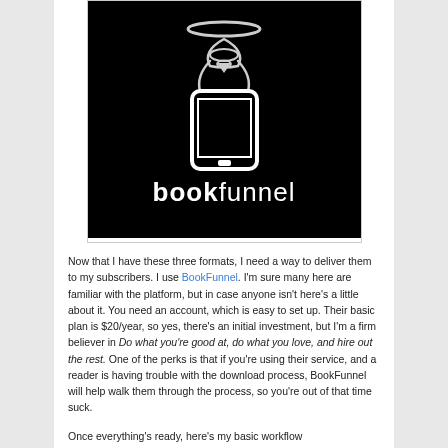[Figure (logo): BookFunnel logo on black background — stylized funnel/wifi icon above a smartphone, with the word 'bookfunnel' in white serif-style text below]
Now that I have these three formats, I need a way to deliver them to my subscribers. I use BookFunnel. I'm sure many here are familiar with the platform, but in case anyone isn't here's a little about it. You need an account, which is easy to set up. Their basic plan is $20/year, so yes, there's an initial investment, but I'm a firm believer in Do what you're good at, do what you love, and hire out the rest. One of the perks is that if you're using their service, and a reader is having trouble with the download process, BookFunnel will help walk them through the process, so you're out of that time suck.
Once everything's ready, here's my basic workflow